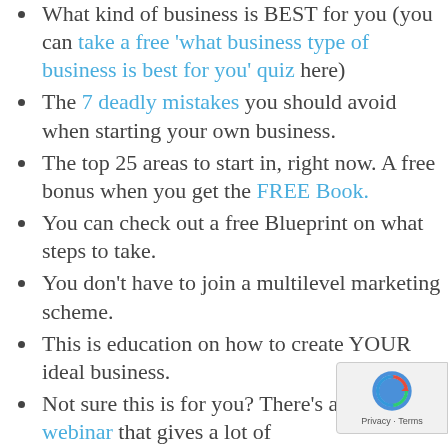What kind of business is BEST for you (you can take a free ‘what business type of business is best for you’ quiz here)
The 7 deadly mistakes you should avoid when starting your own business.
The top 25 areas to start in, right now. A free bonus when you get the FREE Book.
You can check out a free Blueprint on what steps to take.
You don’t have to join a multilevel marketing scheme.
This is education on how to create YOUR ideal business.
Not sure this is for you? There’s a free webinar that gives a lot of